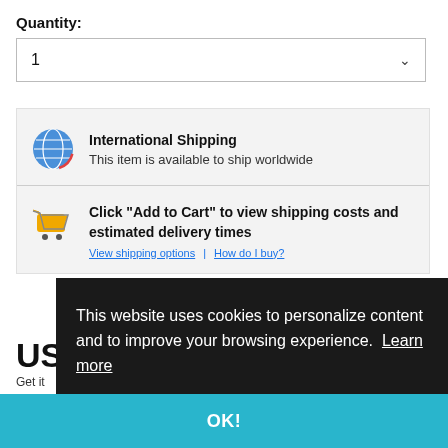Quantity:
1
International Shipping
This item is available to ship worldwide
Click "Add to Cart" to view shipping costs and estimated delivery times
US
Get it
This website uses cookies to personalize content and to improve your browsing experience. Learn more
OK!